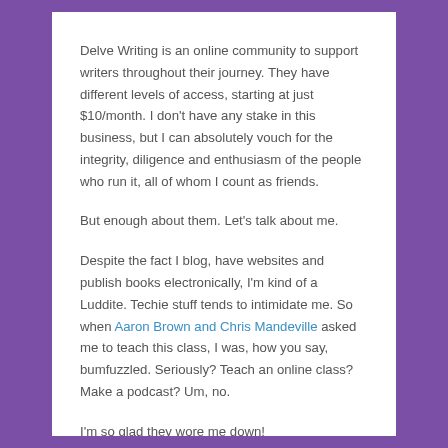Delve Writing is an online community to support writers throughout their journey. They have different levels of access, starting at just $10/month. I don't have any stake in this business, but I can absolutely vouch for the integrity, diligence and enthusiasm of the people who run it, all of whom I count as friends.
But enough about them. Let's talk about me.
Despite the fact I blog, have websites and publish books electronically, I'm kind of a Luddite. Techie stuff tends to intimidate me. So when Aaron Brown and Chris Mandeville asked me to teach this class, I was, how you say, bumfuzzled. Seriously? Teach an online class? Make a podcast? Um, no.
I'm so glad they wore me down!